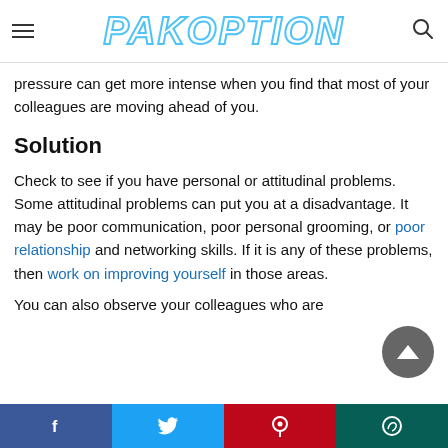PAKOPTION
pressure can get more intense when you find that most of your colleagues are moving ahead of you.
Solution
Check to see if you have personal or attitudinal problems. Some attitudinal problems can put you at a disadvantage. It may be poor communication, poor personal grooming, or poor relationship and networking skills. If it is any of these problems, then work on improving yourself in those areas.
You can also observe your colleagues who are
Facebook Twitter Pinterest WhatsApp